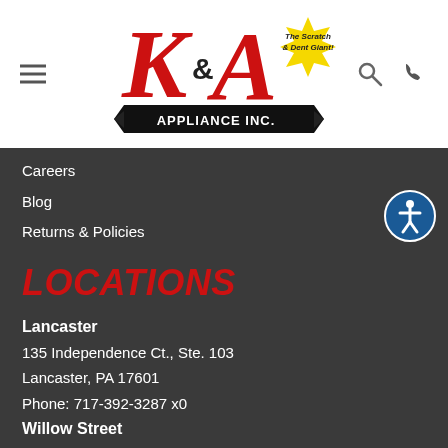[Figure (logo): K&A Appliance Inc. logo with red K&A letters and black banner, plus yellow 'The Scratch & Dent Giant!' starburst badge]
Careers
Blog
Returns & Policies
LOCATIONS
Lancaster
135 Independence Ct., Ste. 103
Lancaster, PA 17601
Phone: 717-392-3287 x0
Willow Street